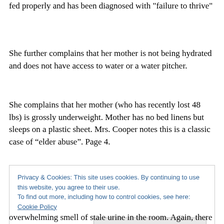fed properly and has been diagnosed with "failure to thrive"
She further complains that her mother is not being hydrated and does not have access to water or a water pitcher.
She complains that her mother (who has recently lost 48 lbs) is grossly underweight. Mother has no bed linens but sleeps on a plastic sheet. Mrs. Cooper notes this is a classic case of “elder abuse”. Page 4.
Privacy & Cookies: This site uses cookies. By continuing to use this website, you agree to their use.
To find out more, including how to control cookies, see here: Cookie Policy
overwhelming smell of stale urine in the room. Again, there